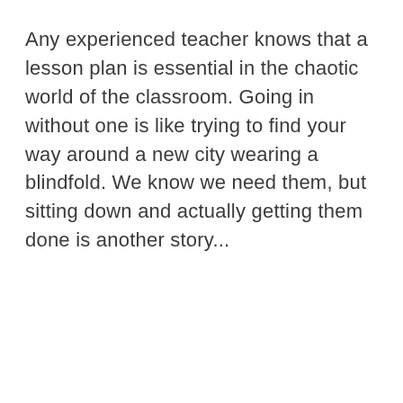Any experienced teacher knows that a lesson plan is essential in the chaotic world of the classroom. Going in without one is like trying to find your way around a new city wearing a blindfold. We know we need them, but sitting down and actually getting them done is another story...